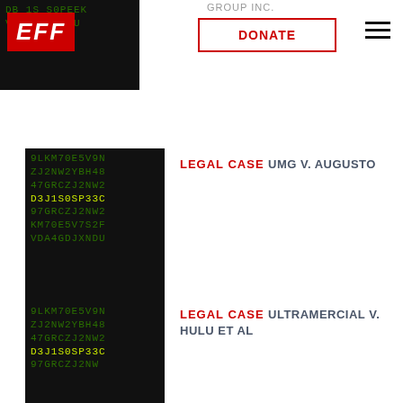EFF | GROUP INC | DONATE
[Figure (screenshot): EFF website header with logo, donate button, and hamburger menu over code background]
[Figure (screenshot): Dark code background image for legal case card]
LEGAL CASE UMG V. AUGUSTO
[Figure (screenshot): Dark code background image for second legal case card]
LEGAL CASE ULTRAMERCIAL V. HULU ET AL